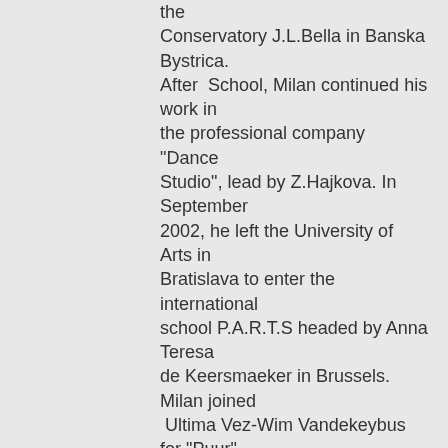the Conservatory J.L.Bella in Banska Bystrica. After School, Milan continued his work in the professional company "Dance Studio", lead by Z.Hajkova. In September 2002, he left the University of Arts in Bratislava to enter the international school P.A.R.T.S headed by Anna Teresa de Keersmaeker in Brussels. Milan joined Ultima Vez-Wim Vandekeybus for "Puur", creation 2005. In 2007 he joins Sidi Larbi Cherkaoui Company to create performance "Myth". Since 2000, Milan assists David Zambrano's classes and workshops (ImpulstanzVienna) and he is permanently collaborating at his work: "12 flies went out at noon", "3 flies went out at noon", "Rabbit project", "Soul Project", "Holes". Milan Herich is co-founder of Les SlovaKsDance Collective. They created "OpeningNight" in October 2007